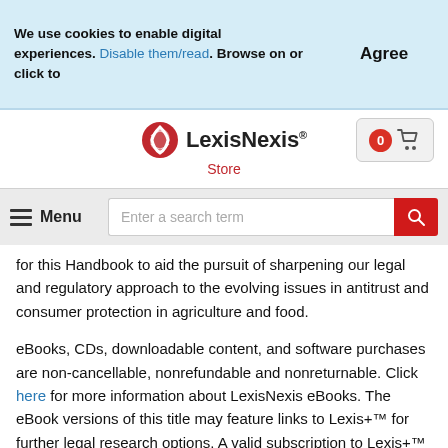We use cookies to enable digital experiences. Disable them/read. Browse on or click to
Agree
[Figure (logo): LexisNexis Store logo with red circular graphic and cart icon button]
Menu  Enter a search term
for this Handbook to aid the pursuit of sharpening our legal and regulatory approach to the evolving issues in antitrust and consumer protection in agriculture and food.
eBooks, CDs, downloadable content, and software purchases are non-cancellable, nonrefundable and nonreturnable. Click here for more information about LexisNexis eBooks. The eBook versions of this title may feature links to Lexis+™ for further legal research options. A valid subscription to Lexis+™ is required to access this content.